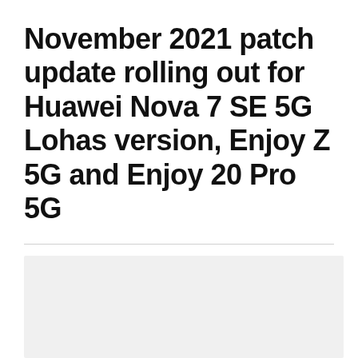November 2021 patch update rolling out for Huawei Nova 7 SE 5G Lohas version, Enjoy Z 5G and Enjoy 20 Pro 5G
by Amit — November 25, 2021
[Figure (other): Light gray placeholder image block]